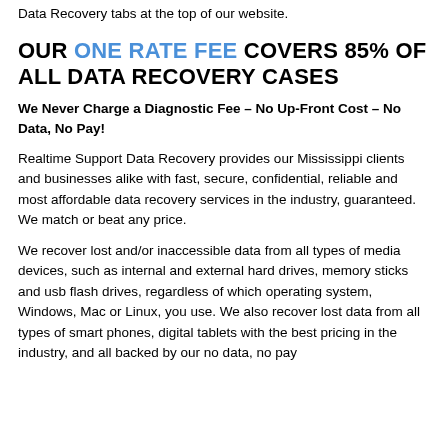Data Recovery tabs at the top of our website.
OUR ONE RATE FEE COVERS 85% OF ALL DATA RECOVERY CASES
We Never Charge a Diagnostic Fee – No Up-Front Cost – No Data, No Pay!
Realtime Support Data Recovery provides our Mississippi clients and businesses alike with fast, secure, confidential, reliable and most affordable data recovery services in the industry, guaranteed. We match or beat any price.
We recover lost and/or inaccessible data from all types of media devices, such as internal and external hard drives, memory sticks and usb flash drives, regardless of which operating system, Windows, Mac or Linux, you use. We also recover lost data from all types of smart phones, digital tablets with the best pricing in the industry, and all backed by our no data, no pay